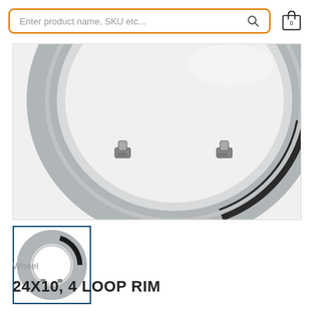Enter product name, SKU etc...
[Figure (photo): Close-up photo of a large silver/grey metal wheel rim with black inner edge and metal locking clips/loops visible, shot on white background]
[Figure (photo): Small thumbnail photo of the same wheel rim (24X10 4 loop rim) showing full circular ring shape, black and silver, on white background]
Wheel
24X10, 4 LOOP RIM